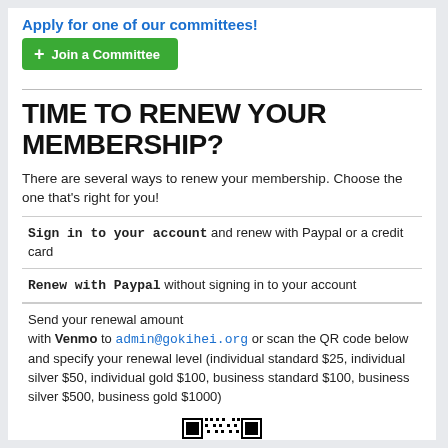Apply for one of our committees!
[Figure (other): Green 'Join a Committee' button with a plus icon]
TIME TO RENEW YOUR MEMBERSHIP?
There are several ways to renew your membership. Choose the one that's right for you!
Sign in to your account and renew with Paypal or a credit card
Renew with Paypal without signing in to your account
Send your renewal amount with Venmo to admin@gokihei.org or scan the QR code below and specify your renewal level (individual standard $25, individual silver $50, individual gold $100, business standard $100, business silver $500, business gold $1000)
[Figure (other): QR code for Venmo payment to admin@gokihei.org]